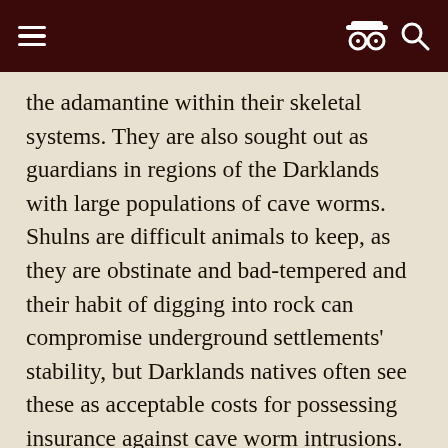[hamburger menu] [spy icon] [search icon]
the adamantine within their skeletal systems. They are also sought out as guardians in regions of the Darklands with large populations of cave worms. Shulns are difficult animals to keep, as they are obstinate and bad-tempered and their habit of digging into rock can compromise underground settlements' stability, but Darklands natives often see these as acceptable costs for possessing insurance against cave worm intrusions. Travelers seeking protection over a journey sometimes attempt to acquire a shuln's preserved saliva instead, in order to avoid the difficulties of leading a shuln over a long journey.[1]